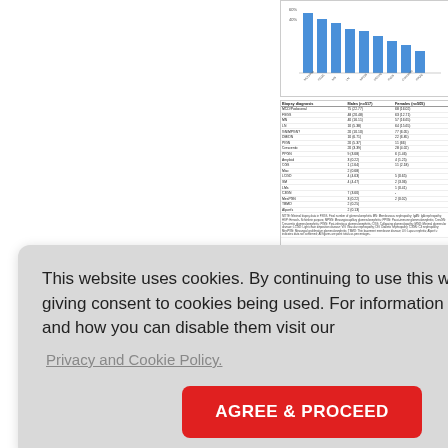[Figure (bar-chart): Partial bar chart visible at top right of page, showing diagnosis frequency bars in blue]
| Biopsy diagnosis | Males (n=517) | Females (n=505) |
| --- | --- | --- |
| MCD/Podoconal | 75 (22.77) | 68 (16.02) |
| FSGS | 48 (20.48) | 63 (12.71) |
| MN | 40 (16.11) | 57 (16.65) |
| LN | 10 (5.38) | 64 (15.65) |
| GN/MPGN? | 20 (10.10) | 77 (6.05) |
| DM/DN | 10 (6.71) | 22 (6.85) |
| PIGN | 20 (5.37) | 11 (66) |
| Crescentic | 20 (3.39) | 28 (4.02) |
| PPGN | 9 (3.68) | 6 (1.46) |
| Amyloid | 3 (0.22) | 4 (1.25) |
| CGS | 1 (2.64) | 11 (2.18) |
| Misc | 2 (0.68) |  |
| LCGD | 4 (4.63) | 5 (0.65) |
| SM | 4 (4.47) | 2 (3.36) |
| LMs |  | 1 (0.41) |
| C3GN | 7 (3.60) | - |
| MesPGN | 3 (0.22) | 2 (0.02) |
| TBMD | 2 (0.25) |  |
| Alport's | 2 (0.13) |  |
This website uses cookies. By continuing to use this website you are giving consent to cookies being used. For information on cookies and how you can disable them visit our
Privacy and Cookie Policy.
AGREE & PROCEED
GD was M was aga d LN was in [Figure